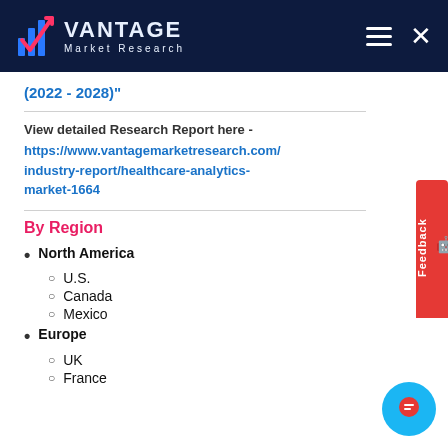Vantage Market Research
(2022 - 2028)"
View detailed Research Report here - https://www.vantagemarketresearch.com/industry-report/healthcare-analytics-market-1664
By Region
North America
U.S.
Canada
Mexico
Europe
UK
France